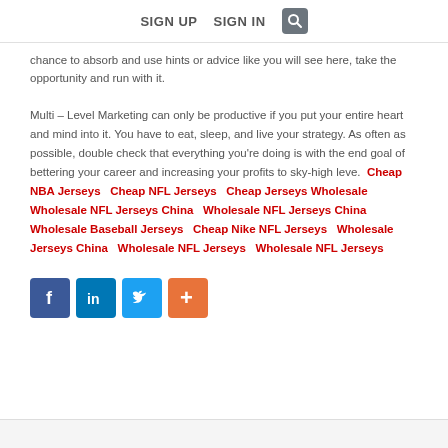SIGN UP   SIGN IN
chance to absorb and use hints or advice like you will see here, take the opportunity and run with it.
Multi – Level Marketing can only be productive if you put your entire heart and mind into it. You have to eat, sleep, and live your strategy. As often as possible, double check that everything you're doing is with the end goal of bettering your career and increasing your profits to sky-high leve.  Cheap NBA Jerseys   Cheap NFL Jerseys   Cheap Jerseys Wholesale   Wholesale NFL Jerseys China   Wholesale NFL Jerseys China   Wholesale Baseball Jerseys   Cheap Nike NFL Jerseys   Wholesale Jerseys China   Wholesale NFL Jerseys   Wholesale NFL Jerseys
[Figure (other): Social sharing buttons: Facebook, LinkedIn, Twitter, and a More (+) button]